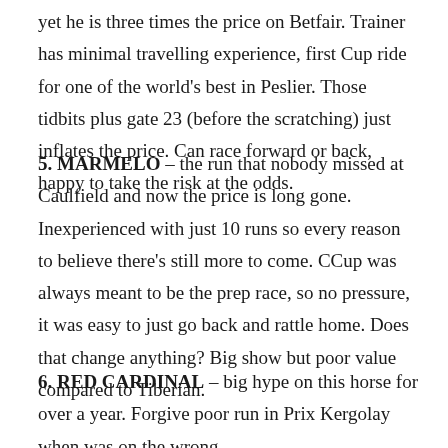yet he is three times the price on Betfair. Trainer has minimal travelling experience, first Cup ride for one of the world's best in Peslier. Those tidbits plus gate 23 (before the scratching) just inflates the price. Can race forward or back, happy to take the risk at the odds.
5. MARMELO – the run that nobody missed at Caulfield and now the price is long gone. Inexperienced with just 10 runs so every reason to believe there's still more to come. CCup was always meant to be the prep race, so no pressure, it was easy to just go back and rattle home. Does that change anything? Big show but poor value compared to Tiberian.
6. RED CARDINAL – big hype on this horse for over a year. Forgive poor run in Prix Kergolay when was on the wrong